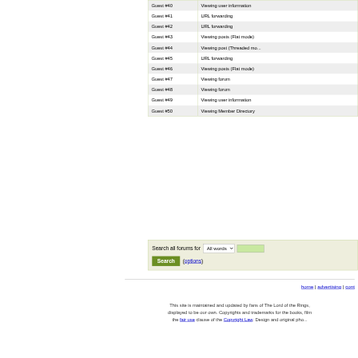| Guest | Action |
| --- | --- |
| Guest #40 | Viewing user information |
| Guest #41 | URL forwarding |
| Guest #42 | URL forwarding |
| Guest #43 | Viewing posts (Flat mode) |
| Guest #44 | Viewing post (Threaded mode) |
| Guest #45 | URL forwarding |
| Guest #46 | Viewing posts (Flat mode) |
| Guest #47 | Viewing forum |
| Guest #48 | Viewing forum |
| Guest #49 | Viewing user information |
| Guest #50 | Viewing Member Directory |
Search all forums for [All words ▾] [ ] Search (options)
home | advertising | cont...
This site is maintained and updated by fans of The Lord of the Rings, displayed to be our own. Copyrights and trademarks for the books, film the fair use clause of the Copyright Law. Design and original phot...